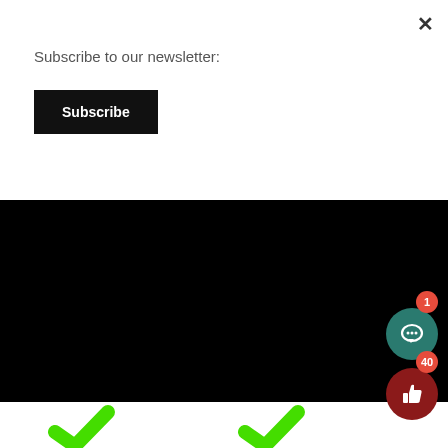×
Subscribe to our newsletter:
Subscribe
Digital fashion has the potential to become mainstream
Ananya Balasubramanya, Eastside Staff
[Figure (photo): Two green checkmarks on a white background, partially visible at bottom of page. Floating chat button with badge '1' and like button with badge '40' overlaid on right side.]